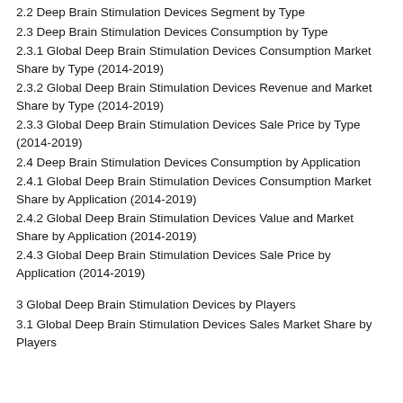2.2 Deep Brain Stimulation Devices Segment by Type
2.3 Deep Brain Stimulation Devices Consumption by Type
2.3.1 Global Deep Brain Stimulation Devices Consumption Market Share by Type (2014-2019)
2.3.2 Global Deep Brain Stimulation Devices Revenue and Market Share by Type (2014-2019)
2.3.3 Global Deep Brain Stimulation Devices Sale Price by Type (2014-2019)
2.4 Deep Brain Stimulation Devices Consumption by Application
2.4.1 Global Deep Brain Stimulation Devices Consumption Market Share by Application (2014-2019)
2.4.2 Global Deep Brain Stimulation Devices Value and Market Share by Application (2014-2019)
2.4.3 Global Deep Brain Stimulation Devices Sale Price by Application (2014-2019)
3 Global Deep Brain Stimulation Devices by Players
3.1 Global Deep Brain Stimulation Devices Sales Market Share by Players